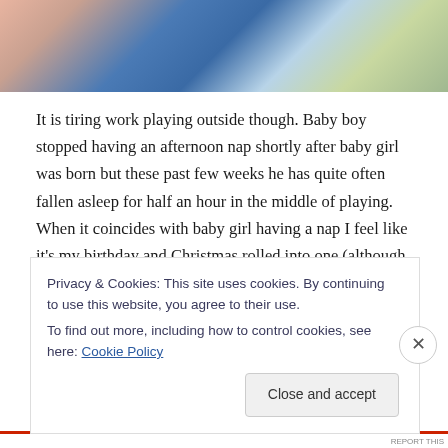[Figure (photo): Partial photo of a baby or young child holding something blue, with colorful patterned fabric in background]
It is tiring work playing outside though. Baby boy stopped having an afternoon nap shortly after baby girl was born but these past few weeks he has quite often fallen asleep for half an hour in the middle of playing. When it coincides with baby girl having a nap I feel like it's my birthday and Christmas rolled into one (although they are actually only 3 days apart so at the time do feel like they are rolled into one). I actually got 2 fence panels painted yesterday!
Privacy & Cookies: This site uses cookies. By continuing to use this website, you agree to their use.
To find out more, including how to control cookies, see here: Cookie Policy
Close and accept